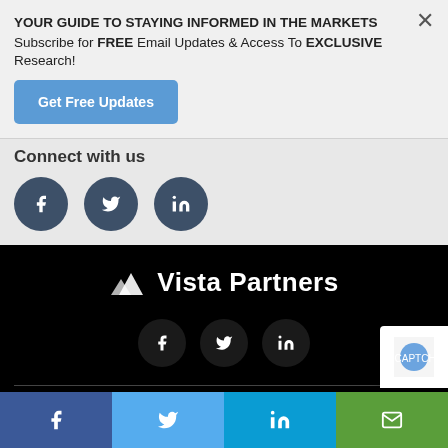YOUR GUIDE TO STAYING INFORMED IN THE MARKETS
Subscribe for FREE Email Updates & Access To EXCLUSIVE Research!
Get Free Updates
Connect with us
[Figure (other): Social media icons: Facebook, Twitter, LinkedIn circular dark buttons]
[Figure (logo): Vista Partners logo with mountain icon and white text on black background]
[Figure (other): Footer social media icons: Facebook, Twitter, LinkedIn on dark circles]
Social sharing bar with Facebook, Twitter, LinkedIn, and email buttons